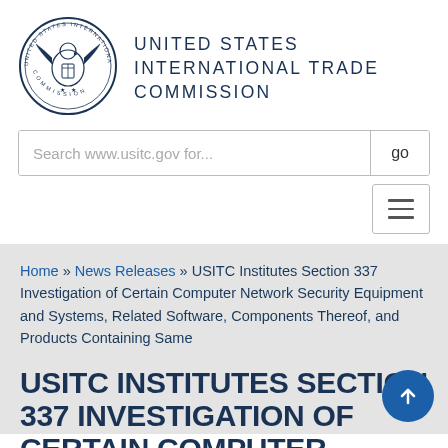[Figure (logo): United States International Trade Commission circular seal with eagle]
UNITED STATES INTERNATIONAL TRADE COMMISSION
[Figure (screenshot): Search bar with placeholder text 'Search www.usitc.gov for...' and 'go' button]
[Figure (other): Hamburger menu toggle button with three horizontal lines]
Home » News Releases » USITC Institutes Section 337 Investigation of Certain Computer Network Security Equipment and Systems, Related Software, Components Thereof, and Products Containing Same
USITC INSTITUTES SECTION 337 INVESTIGATION OF CERTAIN COMPUTER NETWORK SECURITY